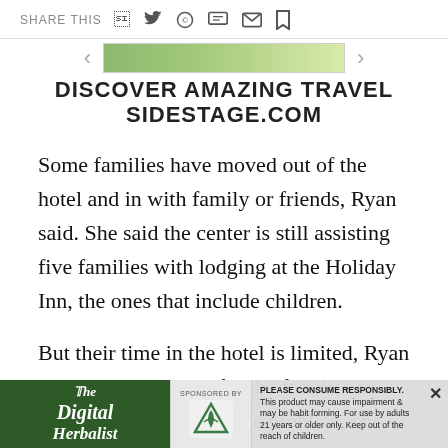SHARE THIS
[Figure (infographic): Advertisement banner for DISCOVER AMAZING TRAVEL SIDESTAGE.COM with left and right navigation arrows and a green image strip]
Some families have moved out of the hotel and in with family or friends, Ryan said. She said the center is still assisting five families with lodging at the Holiday Inn, the ones that include children.
But their time in the hotel is limited, Ryan said, and the goal is for the families to find new apartments. The problem, she acknowledges, is that "... As
[Figure (infographic): Bottom overlay advertisement: The Digital Herbalist ad on the left in green, center logo for a cannabis brand with SPONSORED BY label, right side text reading PLEASE CONSUME RESPONSIBLY. This product may cause impairment & may be habit forming. For use by adults 21 years or older only. Keep out of the reach of children. Close (x) button top right.]